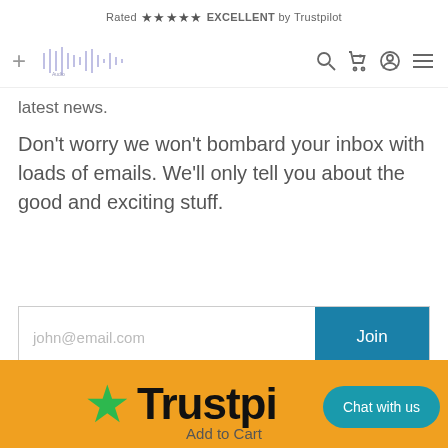Rated ★★★★★ EXCELLENT by Trustpilot
[Figure (logo): Audio waveform logo with navigation icons (search, cart, user, menu)]
latest news.
Don't worry we won't bombard your inbox with loads of emails. We'll only tell you about the good and exciting stuff.
[Figure (other): Email signup form with input field placeholder 'john@email.com' and blue 'Join' button]
★ Trustpilot — Add to Cart — Chat with us